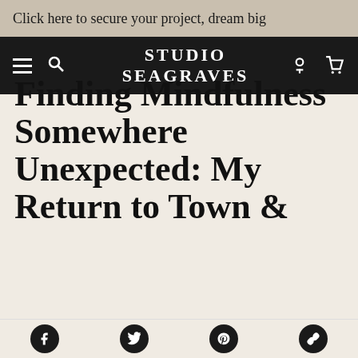Click here to secure your project, dream big
STUDIO SEAGRAVES
[Figure (screenshot): Accessibility button with person icon]
Finding Mindfulness Somewhere Unexpected: My Return to Town &
Social share icons: Facebook, Twitter, Pinterest, Link